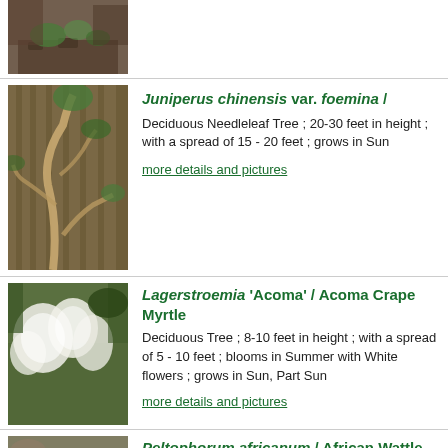[Figure (photo): Partial photo of a plant/tree at top of page, cut off]
[Figure (photo): Photo of Juniperus chinensis var. foemina tree with twisted trunk and branches]
Juniperus chinensis var. foemina  /
Deciduous Needleleaf Tree ; 20-30 feet in height ; with a spread of 15 - 20 feet ; grows in Sun
more details and pictures
[Figure (photo): Photo of Lagerstroemia 'Acoma' Acoma Crape Myrtle with white flowers]
Lagerstroemia 'Acoma'  /  Acoma Crape Myrtle
Deciduous Tree ; 8-10 feet in height ; with a spread of 5 - 10 feet ; blooms in Summer with White flowers ; grows in Sun, Part Sun
more details and pictures
[Figure (photo): Photo of Peltophorum africanum African Wattle / Weeping Wattle tree with fine foliage]
Peltophorum africanum /  African Wattle, Weeping Wattle
Evergreen Broadleaf Tree ; 20-30 feet in height ; with a spread of 15 - 20 feet ; blooms in Summer with Yellow flowers ; Fall fruit ; grows in Sun